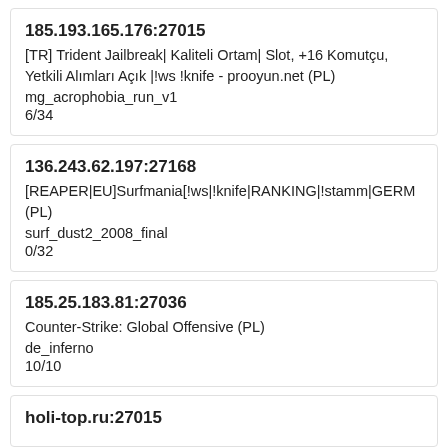185.193.165.176:27015
[TR] Trident Jailbreak| Kaliteli Ortam| Slot, +16 Komutçu, Yetkili Alımları Açık |!ws !knife - prooyun.net (PL)
mg_acrophobia_run_v1
6/34
136.243.62.197:27168
[REAPER|EU]Surfmania[!ws|!knife|RANKING|!stamm|GERM (PL)
surf_dust2_2008_final
0/32
185.25.183.81:27036
Counter-Strike: Global Offensive (PL)
de_inferno
10/10
holi-top.ru:27015